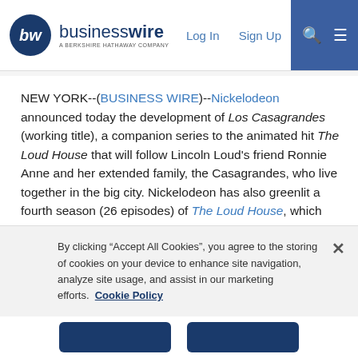businesswire — A BERKSHIRE HATHAWAY COMPANY | Log In | Sign Up
NEW YORK--(BUSINESS WIRE)--Nickelodeon announced today the development of Los Casagrandes (working title), a companion series to the animated hit The Loud House that will follow Lincoln Loud's friend Ronnie Anne and her extended family, the Casagrandes, who live together in the big city. Nickelodeon has also greenlit a fourth season (26 episodes) of The Loud House, which will include a six-episode story arc featuring the Casagrandes. Since its launch in 2016, The Loud House has remained one of Nickelodeon's top-rated shows and is currently the number-one series across television with Kids 2-11 and Kids 6-11 year to date.
By clicking “Accept All Cookies”, you agree to the storing of cookies on your device to enhance site navigation, analyze site usage, and assist in our marketing efforts. Cookie Policy